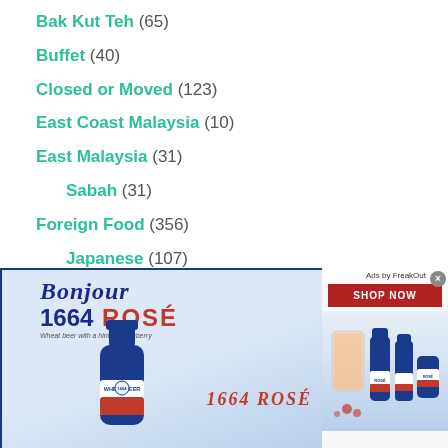Bak Kut Teh (65)
Buffet (40)
Closed or Moved (123)
East Coast Malaysia (10)
East Malaysia (31)
Sabah (31)
Foreign Food (356)
Japanese (107)
Korean (30)
[Figure (photo): Advertisement for Kronenbourg 1664 Rosé wheat beer with 'Bonjour' branding, showing a blue bottle with red and white label, tagline '1664 ROSÉ', placed over a food blog navigation list]
Malaysian Food (303)